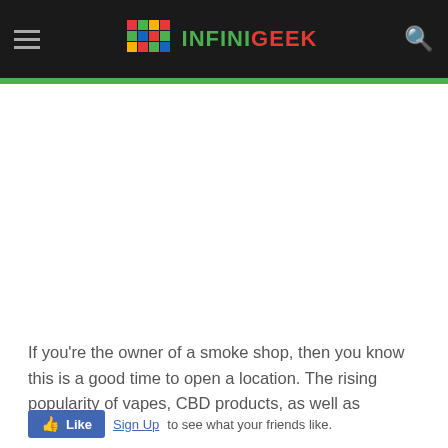INFINIGEEK (navigation header with hamburger menu, logo, and search icon)
[Figure (other): White advertisement/image placeholder area below the header green stripe]
If you're the owner of a smoke shop, then you know this is a good time to open a location. The rising popularity of vapes, CBD products, as well as
Like Sign Up to see what your friends like.